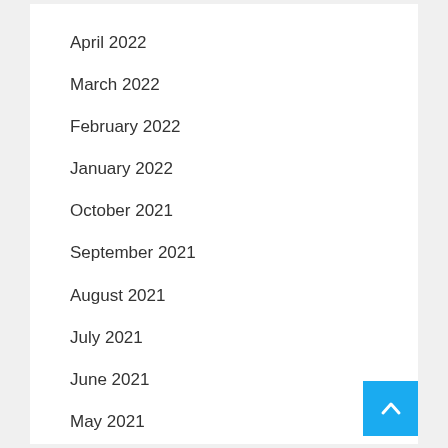April 2022
March 2022
February 2022
January 2022
October 2021
September 2021
August 2021
July 2021
June 2021
May 2021